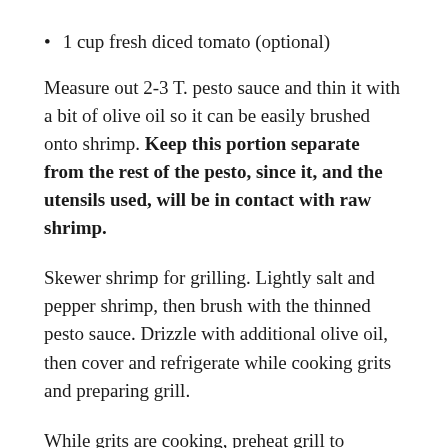1 cup fresh diced tomato (optional)
Measure out 2-3 T. pesto sauce and thin it with a bit of olive oil so it can be easily brushed onto shrimp. Keep this portion separate from the rest of the pesto, since it, and the utensils used, will be in contact with raw shrimp.
Skewer shrimp for grilling. Lightly salt and pepper shrimp, then brush with the thinned pesto sauce. Drizzle with additional olive oil, then cover and refrigerate while cooking grits and preparing grill.
While grits are cooking, preheat grill to medium-high heat (about 400°F). When grits